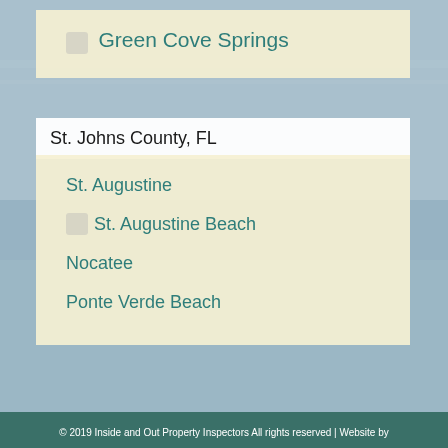Green Cove Springs
St. Johns County, FL
St. Augustine
St. Augustine Beach
Nocatee
Ponte Verde Beach
© 2019 Inside and Out Property Inspectors All rights reserved | Website by